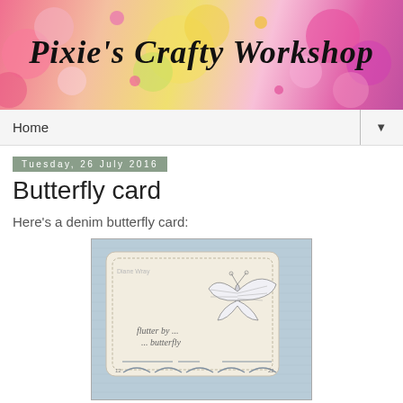[Figure (illustration): Pixie's Crafty Workshop banner with colorful flowers background and cursive title text]
Home
Tuesday, 26 July 2016
Butterfly card
Here's a denim butterfly card:
[Figure (photo): A handmade denim butterfly card with text 'flutter by ... ... butterfly' and a decorative die-cut butterfly, signed Diane Wray]